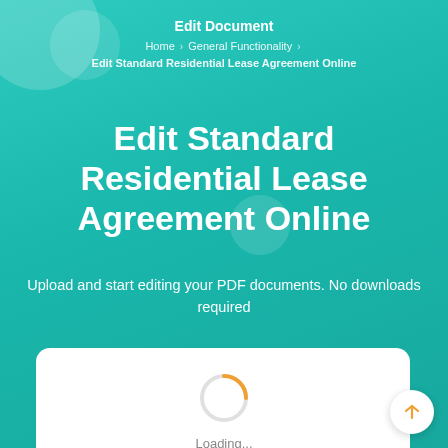Edit Document
Home › General Functionality › Edit Standard Residential Lease Agreement Online
Edit Standard Residential Lease Agreement Online
Upload and start editing your PDF documents. No downloads required
[Figure (screenshot): Loading spinner (orange arc) on white panel with 'Loading...' text below it, and a scroll-to-top button with an upward arrow in the bottom right corner]